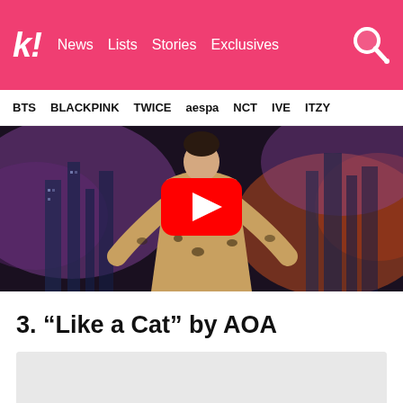k! News  Lists  Stories  Exclusives
BTS  BLACKPINK  TWICE  aespa  NCT  IVE  ITZY
[Figure (screenshot): YouTube video thumbnail showing a performer in a leopard-print blazer against a purple smoky cityscape background, with a red YouTube play button overlay]
3. “Like a Cat” by AOA
[Figure (photo): Partially visible image at the bottom of the page]